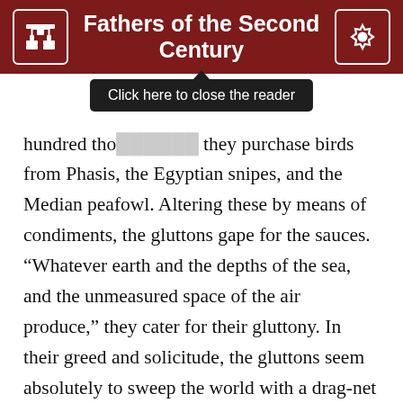Fathers of the Second Century
[Figure (screenshot): Tooltip overlay reading 'Click here to close the reader' in a dark popup box with an upward pointing arrow]
hundred tho... they purchase birds from Phasis, the Egyptian snipes, and the Median peafowl. Altering these by means of condiments, the gluttons gape for the sauces. “Whatever earth and the depths of the sea, and the unmeasured space of the air produce,” they cater for their gluttony. In their greed and solicitude, the gluttons seem absolutely to sweep the world with a drag-net to gratify their luxurious tastes. These gluttons, surrounded with the sound of hissing frying-pans, and wearing their whole life away at the pestle and mortar, cling to matter like fire. More than that, they emasculate plain food, namely